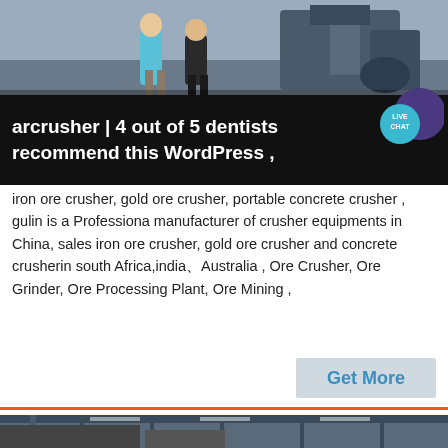[Figure (photo): Workers in a factory/industrial setting with machinery, viewed from partial crop at top of page]
arcrusher | 4 out of 5 dentists recommend this WordPress ,
iron ore crusher, gold ore crusher, portable concrete crusher , gulin is a Professiona manufacturer of crusher equipments in China, sales iron ore crusher, gold ore crusher and concrete crusherin south Africa,india、Australia , Ore Crusher, Ore Grinder, Ore Processing Plant, Ore Mining ,
[Figure (photo): Industrial facility interior with large machinery and overhead structure visible at bottom of page]